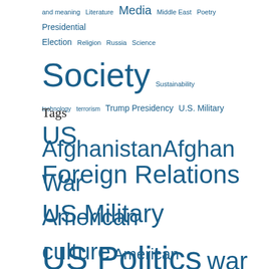and meaning Literature Media Middle East Poetry Presidential Election Religion Russia Science Society Sustainability technology terrorism Trump Presidency U.S. Military US Foreign Relations US Military US Politics war
Tags
Afghanistan Afghan War American culture American Empire American exceptionalism American society Barack Obama Bernie Sanders bombing Bush China CIA Cold War Congress democracy Democrats department of defense Dick Cheney Donald Trump education Edward Snowden Fascism foreign policy George W. Bush Germany Hillary Clinton Iran